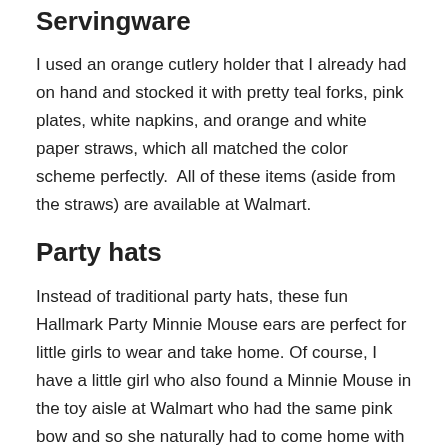Servingware
I used an orange cutlery holder that I already had on hand and stocked it with pretty teal forks, pink plates, white napkins, and orange and white paper straws, which all matched the color scheme perfectly.  All of these items (aside from the straws) are available at Walmart.
Party hats
Instead of traditional party hats, these fun Hallmark Party Minnie Mouse ears are perfect for little girls to wear and take home. Of course, I have a little girl who also found a Minnie Mouse in the toy aisle at Walmart who had the same pink bow and so she naturally had to come home with us too.
Minnie Mouse party activity